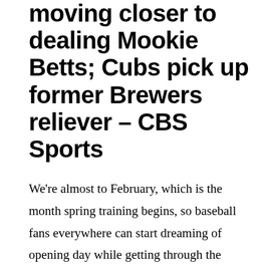moving closer to dealing Mookie Betts; Cubs pick up former Brewers reliever – CBS Sports
We're almost to February, which is the month spring training begins, so baseball fans everywhere can start dreaming of opening day while getting through the January dreariness. With Nick Castellanos having